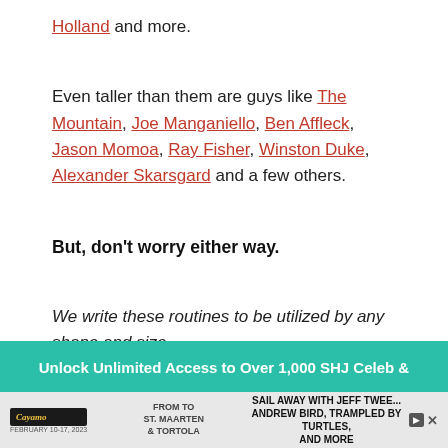Holland and more.
Even taller than them are guys like The Mountain, Joe Manganiello, Ben Affleck, Jason Momoa, Ray Fisher, Winston Duke, Alexander Skarsgard and a few others.
But, don't worry either way.
We write these routines to be utilized by any shape and size.
Unlock Unlimited Access to Over 1,000 SHJ Celeb &
[Figure (other): Advertisement banner for Cayamo cruise event, February 10-17 2023, featuring Jeff Tweedy, Andrew Bird, Trampled By Turtles, and more.]